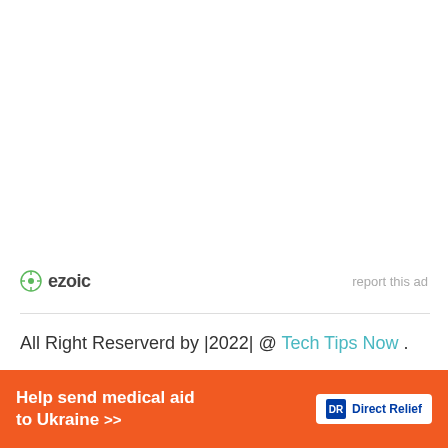[Figure (logo): Ezoic logo with green circular icon and bold dark text 'ezoic', with 'report this ad' text to the right]
report this ad
All Right Reserverd by |2022| @ Tech Tips Now .
[Figure (infographic): Dark overlay banner with partially visible text, followed by orange Direct Relief charity ad banner reading 'Help send medical aid to Ukraine >>' with Direct Relief logo]